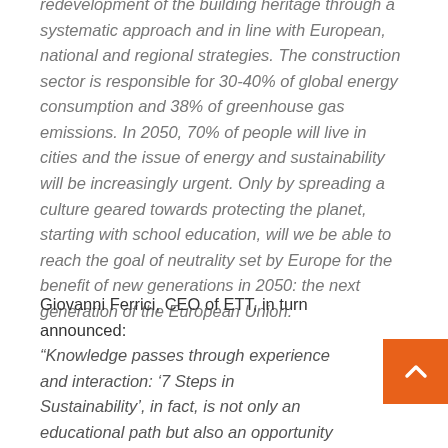redevelopment of the building heritage through a systematic approach and in line with European, national and regional strategies. The construction sector is responsible for 30-40% of global energy consumption and 38% of greenhouse gas emissions. In 2050, 70% of people will live in cities and the issue of energy and sustainability will be increasingly urgent. Only by spreading a culture geared towards protecting the planet, starting with school education, will we be able to reach the goal of neutrality set by Europe for the benefit of new generations in 2050: the next generation of the European Union.
Giovanni Ferrici, CEO of ETT, in turn announced: “Knowledge passes through experience and interaction: ‘7 Steps in Sustainability’, in fact, is not only an educational path but also an opportunity to engage children and make them the champions of the